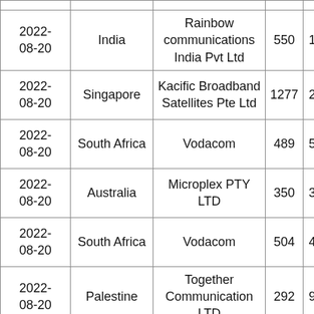| Date | Country | Company | Col4 | Col5 |
| --- | --- | --- | --- | --- |
| 2022-08-20 | India | Rainbow communications India Pvt Ltd | 550 | 16 |
| 2022-08-20 | Singapore | Kacific Broadband Satellites Pte Ltd | 1277 | 20 |
| 2022-08-20 | South Africa | Vodacom | 489 | 57 |
| 2022-08-20 | Australia | Microplex PTY LTD | 350 | 39 |
| 2022-08-20 | South Africa | Vodacom | 504 | 45 |
| 2022-08-20 | Palestine | Together Communication LTD | 292 | 97 |